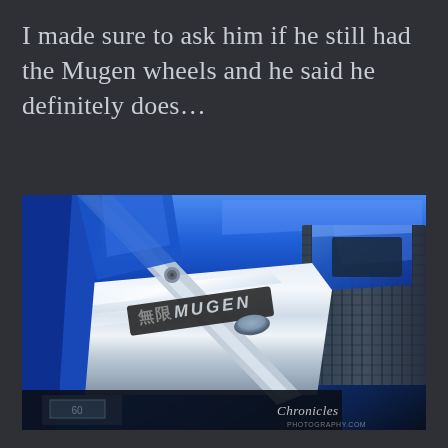I made sure to ask him if he still had the Mugen wheels and he said he definitely does…
[Figure (photo): Close-up photograph of a blue Honda engine bay showing a polished aluminum Mugen valve cover with Japanese characters and MUGEN branding, blue engine components and intercooler visible, with 'Chronicles' watermark in bottom right corner]